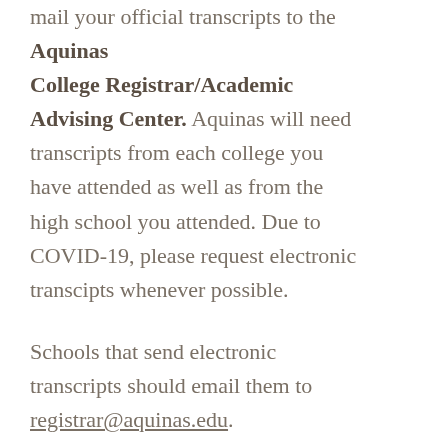mail your official transcripts to the Aquinas College Registrar/Academic Advising Center. Aquinas will need transcripts from each college you have attended as well as from the high school you attended. Due to COVID-19, please request electronic transcipts whenever possible.

Schools that send electronic transcripts should email them to registrar@aquinas.edu.